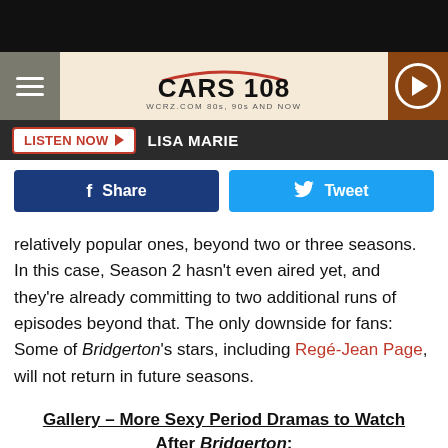[Figure (screenshot): Black top bar]
CARS 108 — WCRZ.COM 80s, 90s AND NOW — with hamburger menu and play button
LISTEN NOW ▶  LISA MARIE
[Figure (infographic): Facebook Share button and Twitter Tweet button]
relatively popular ones, beyond two or three seasons. In this case, Season 2 hasn't even aired yet, and they're already committing to two additional runs of episodes beyond that. The only downside for fans: Some of Bridgerton's stars, including Regé-Jean Page, will not return in future seasons.
Gallery — More Sexy Period Dramas to Watch After Bridgerton:
[Figure (photo): Bottom partial image, warm brown tones, appears to be a period drama scene]